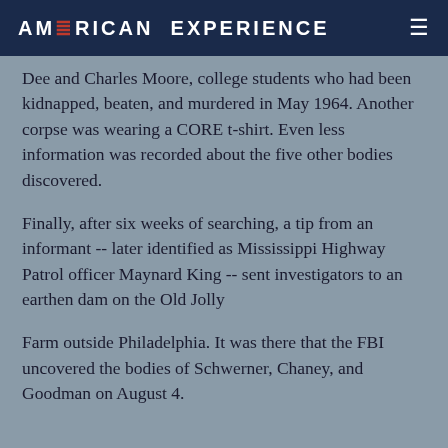AMERICAN EXPERIENCE
Dee and Charles Moore, college students who had been kidnapped, beaten, and murdered in May 1964. Another corpse was wearing a CORE t-shirt. Even less information was recorded about the five other bodies discovered.
Finally, after six weeks of searching, a tip from an informant -- later identified as Mississippi Highway Patrol officer Maynard King -- sent investigators to an earthen dam on the Old Jolly
Farm outside Philadelphia. It was there that the FBI uncovered the bodies of Schwerner, Chaney, and Goodman on August 4.